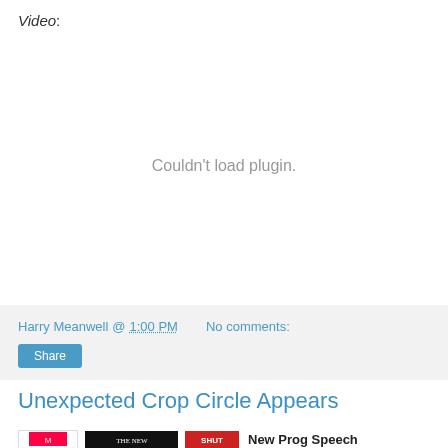Video:
[Figure (other): Video plugin placeholder showing 'Couldn't load plugin.' message]
Harry Meanwell @ 1:00 PM   No comments:
Share
Unexpected Crop Circle Appears
New Prog Speech